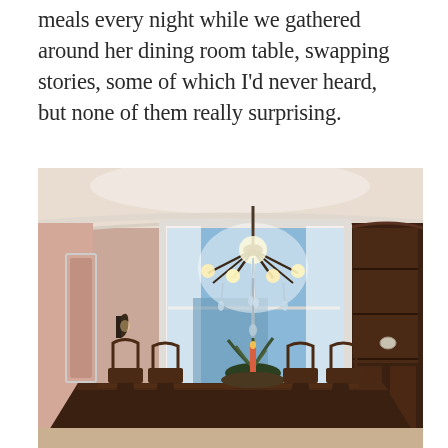meals every night while we gathered around her dining room table, swapping stories, some of which I'd never heard, but none of them really surprising.
[Figure (photo): Interior photo of an elegant dining room with pink walls, a tray ceiling with white crown molding, a crystal chandelier hanging above a long dark wood dining table surrounded by chairs, a large window with white curtains in the background, a dark wood china cabinet on the right, a wall sconce on the left, and a centerpiece with a plant and red candle on the table.]